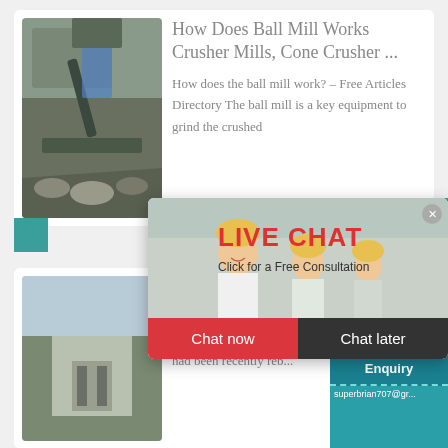[Figure (photo): Industrial ball mill / crusher machine in operation, gravel and rocks visible]
How Does Ball Mill Works Crusher Mills, Cone Crusher ...
How does the ball mill work? – Free Articles Directory The ball mill is a key equipment to grind the crushed
[Figure (photo): Industrial crushing/milling facility building exterior]
BALL MILL G... PROBLEM - V...
•The gearbox between... had been recently reb...
[Figure (screenshot): Live chat popup overlay with workers in hard hats, LIVE CHAT heading, Click for a Free Consultation, Chat now and Chat later buttons]
7 hours online
Click me to chat >>
Enquiry
superbrian707@gr...